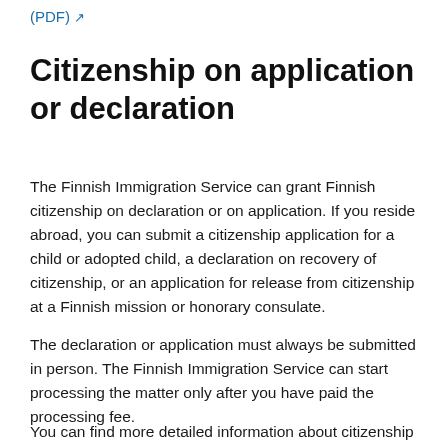(PDF) ↗
Citizenship on application or declaration
The Finnish Immigration Service can grant Finnish citizenship on declaration or on application. If you reside abroad, you can submit a citizenship application for a child or adopted child, a declaration on recovery of citizenship, or an application for release from citizenship at a Finnish mission or honorary consulate.
The declaration or application must always be submitted in person. The Finnish Immigration Service can start processing the matter only after you have paid the processing fee.
You can find more detailed information about citizenship